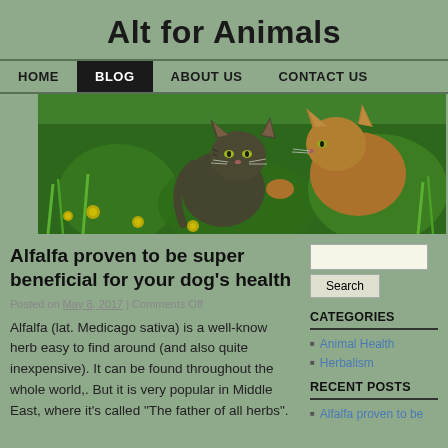Alt for Animals
HOME | BLOG | ABOUT US | CONTACT US
[Figure (photo): Two kittens outdoors in green grass with yellow flowers. One dark tabby kitten and one orange kitten facing each other.]
Alfalfa proven to be super beneficial for your dog's health
Posted on May 8, 2017 | Comments Off
Alfalfa (lat. Medicago sativa) is a well-know herb easy to find around (and also quite inexpensive). It can be found throughout the whole world,. But it is very popular in Middle East, where it's called "The father of all herbs".
CATEGORIES
Animal Health
Herbalism
RECENT POSTS
Alfalfa proven to be